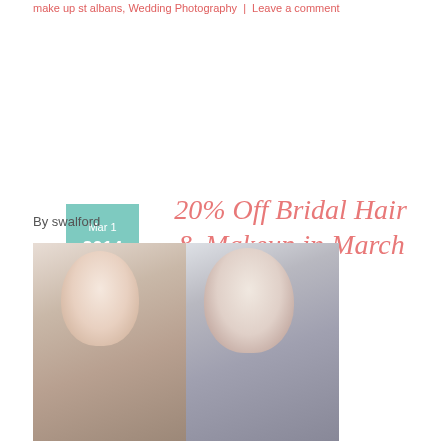make up st albans, Wedding Photography | Leave a comment
20% Off Bridal Hair & Makeup in March
By swalford
[Figure (photo): Two brides side by side showing bridal hair and makeup styles. Left bride has light brown updo with pearl accessories and natural makeup. Right bride has dark hair pulled back with dramatic eye makeup and large earrings.]